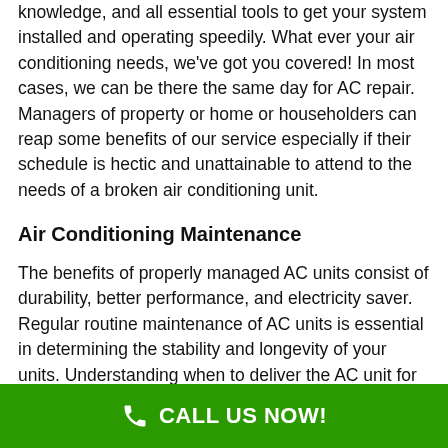knowledge, and all essential tools to get your system installed and operating speedily. What ever your air conditioning needs, we've got you covered! In most cases, we can be there the same day for AC repair. Managers of property or home or householders can reap some benefits of our service especially if their schedule is hectic and unattainable to attend to the needs of a broken air conditioning unit.
Air Conditioning Maintenance
The benefits of properly managed AC units consist of durability, better performance, and electricity saver. Regular routine maintenance of AC units is essential in determining the stability and longevity of your units. Understanding when to deliver the AC unit for servicing is simple. If you observe it's not cold in your place any longer, that's the moment for maintenance. Buying a new system is expensive, if you don't have any other choices, that should be the
CALL US NOW!